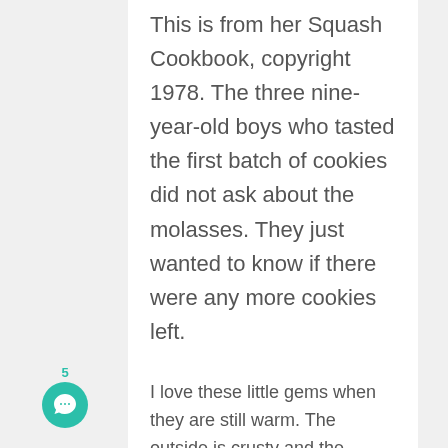This is from her Squash Cookbook, copyright 1978. The three nine-year-old boys who tasted the first batch of cookies did not ask about the molasses. They just wanted to know if there were any more cookies left.
I love these little gems when they are still warm. The outside is crusty and the inside is soft and a bit chewy. I added to Yvonne's cookie plan by